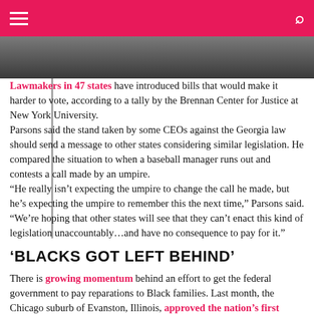Navigation menu and search icon on pink/red header bar
[Figure (photo): Partial photo of person(s), bottom portion visible, dark clothing with red tie]
Lawmakers in 47 states have introduced bills that would make it harder to vote, according to a tally by the Brennan Center for Justice at New York University. Parsons said the stand taken by some CEOs against the Georgia law should send a message to other states considering similar legislation. He compared the situation to when a baseball manager runs out and contests a call made by an umpire. “He really isn’t expecting the umpire to change the call he made, but he’s expecting the umpire to remember this the next time,” Parsons said. “We’re hoping that other states will see that they can’t enact this kind of legislation unaccountably…and have no consequence to pay for it.”
‘BLACKS GOT LEFT BEHIND’
There is growing momentum behind an effort to get the federal government to pay reparations to Black families. Last month, the Chicago suburb of Evanston, Illinois, approved the nation’s first reparations program, which will provide funding for home loans to residents who can demonstrate harm from discriminatory housing practices. Parsons said he does not support a reparations program based solely on writing checks to the African-American